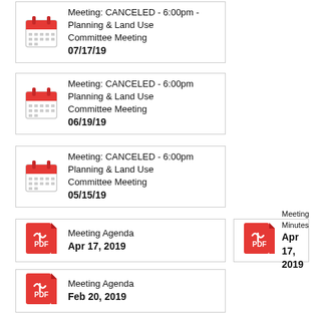Meeting: CANCELED - 6:00pm - Planning & Land Use Committee Meeting 07/17/19
Meeting: CANCELED - 6:00pm Planning & Land Use Committee Meeting 06/19/19
Meeting: CANCELED - 6:00pm Planning & Land Use Committee Meeting 05/15/19
Meeting Agenda Apr 17, 2019
Meeting Minutes Apr 17, 2019
Meeting Agenda Feb 20, 2019